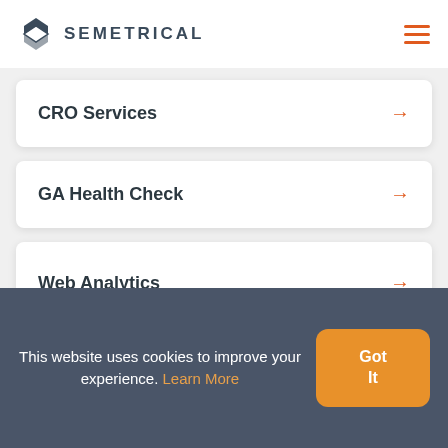SEMETRICAL
CRO Services →
GA Health Check →
Web Analytics →
This website uses cookies to improve your experience. Learn More
Got It